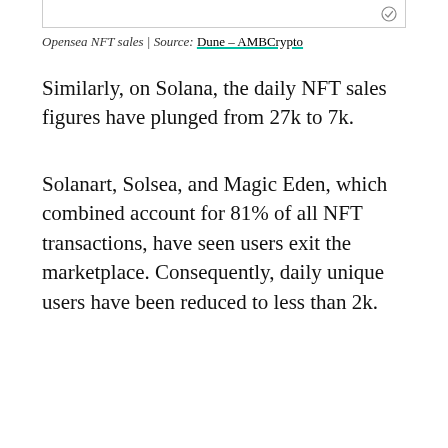Opensea NFT sales | Source: Dune – AMBCrypto
Similarly, on Solana, the daily NFT sales figures have plunged from 27k to 7k.
Solanart, Solsea, and Magic Eden, which combined account for 81% of all NFT transactions, have seen users exit the marketplace. Consequently, daily unique users have been reduced to less than 2k.